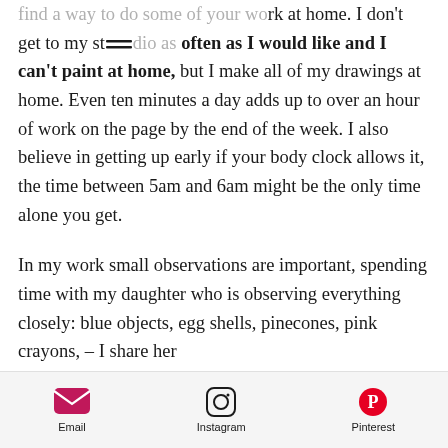find a way to do some of your work at home. I don't get to my studio as often as I would like and I can't paint at home, but I make all of my drawings at home. Even ten minutes a day adds up to over an hour of work on the page by the end of the week. I also believe in getting up early if your body clock allows it, the time between 5am and 6am might be the only time alone you get.
In my work small observations are important, spending time with my daughter who is observing everything closely: blue objects, egg shells, pinecones, pink crayons, – I share her
Email  Instagram  Pinterest